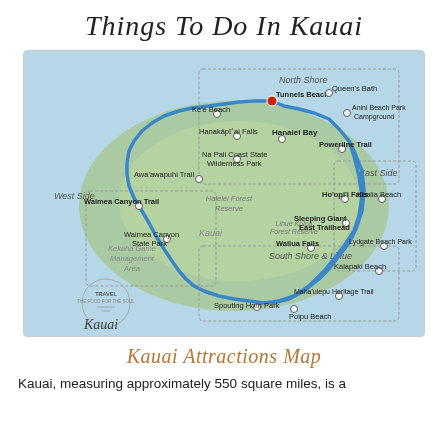Things To Do In Kauai
[Figure (map): A map of Kauai showing tourist attractions and a driving route marked in blue. Labeled locations include: Tunnels Beach, Queen's Bath, Ke'e Beach, Anini Beach Park Campground, Hanakāpīʻai Falls, Hanalei Bay, Powerline Trail, Na Pali Coast State Wilderness Park, Awa'awapuhi Trail, Waimea Canyon Trail, Waimea Canyon State Park, Kekaha Game Management Area, Ho'opi'i Falls, Kealia Beach, Sleeping Giant East Trailhead, Wailua Falls, Lydgate Beach Park, Kalapaki Beach, Maha'ulepu Heritage Trail, Poipu Beach, Spouting Horn Park. Regions labeled: North Shore, West Side, East Side, South Shore & Lihue, Halelei Forest Reserve, Kauai, Lihue Koloa Forest Reserve. A travel logo in the lower left reads 'TRAVEL THE FOOD FOR THE SOUL' with 'Kauai' in cursive script below.]
Kauai Attractions Map
Kauai, measuring approximately 550 square miles, is a